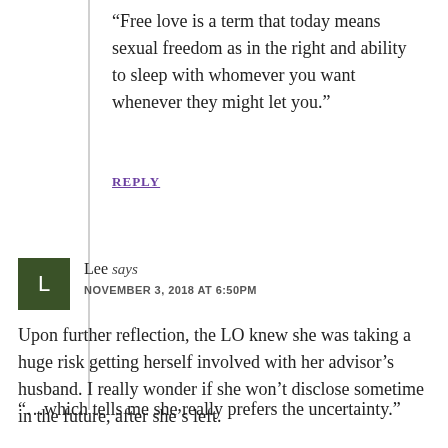“Free love is a term that today means sexual freedom as in the right and ability to sleep with whomever you want whenever they might let you.”
REPLY
Lee says
NOVEMBER 3, 2018 AT 6:50PM
Upon further reflection, the LO knew she was taking a huge risk getting herself involved with her advisor’s husband. I really wonder if she won’t disclose sometime in the future, after she’s left.
“…which tells me she really prefers the uncertainty.”